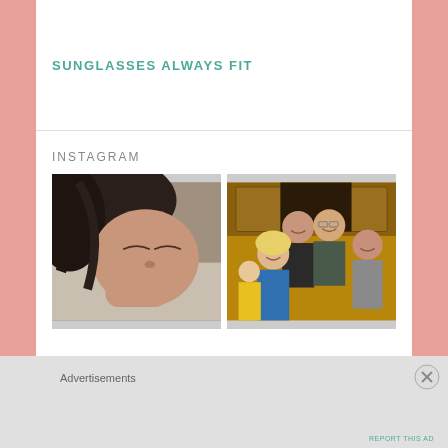SUNGLASSES ALWAYS FIT
INSTAGRAM
[Figure (photo): Woman lying down with eyes closed, close-up selfie-style photo]
[Figure (photo): Group of five people smiling together in a kitchen setting]
Advertisements
REPORT THIS AD